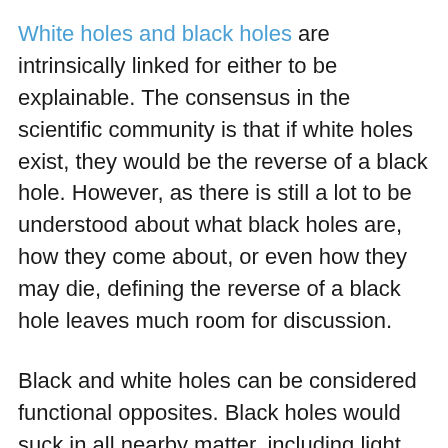White holes and black holes are intrinsically linked for either to be explainable. The consensus in the scientific community is that if white holes exist, they would be the reverse of a black hole. However, as there is still a lot to be understood about what black holes are, how they come about, or even how they may die, defining the reverse of a black hole leaves much room for discussion.
Black and white holes can be considered functional opposites. Black holes would suck in all nearby matter, including light, and can crush and tear apart all sucked-in matter to the